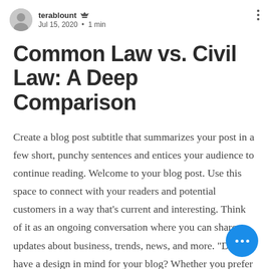terablount · Jul 15, 2020 · 1 min
Common Law vs. Civil Law: A Deep Comparison
Create a blog post subtitle that summarizes your post in a few short, punchy sentences and entices your audience to continue reading. Welcome to your blog post. Use this space to connect with your readers and potential customers in a way that's current and interesting. Think of it as an ongoing conversation where you can share updates about business, trends, news, and more. "Do you have a design in mind for your blog? Whether you prefer a trendy postcard look or you're going